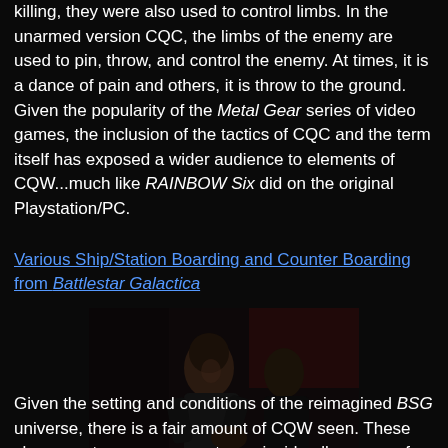killing, they were also used to control limbs. In the unarmed version CQC, the limbs of the enemy are used to pin, throw, and control the enemy. At times, it is a dance of pain and others, it is throw to the ground. Given the popularity of the Metal Gear series of video games, the inclusion of the tactics of CQC and the term itself has exposed a wider audience to elements of CQW...much like RAINBOW Six did on the original Playstation/PC.
Various Ship/Station Boarding and Counter Boarding from Battlestar Galactica
[Figure (photo): Dark screenshot from Battlestar Galactica showing two figures in close quarters combat, one woman in black clothing grappling with another figure in a dark interior setting]
Given the setting and conditions of the reimagined BSG universe, there is a fair amount of CQW seen. These close quarters engagements are inside all manner of